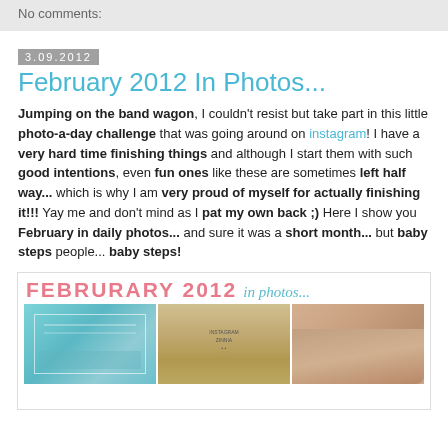No comments:
3.09.2012
February 2012 In Photos...
Jumping on the band wagon, I couldn't resist but take part in this little photo-a-day challenge that was going around on instagram! I have a very hard time finishing things and although I start them with such good intentions, even fun ones like these are sometimes left half way... which is why I am very proud of myself for actually finishing it!!! Yay me and don't mind as I pat my own back ;) Here I show you February in daily photos... and sure it was a short month... but baby steps people... baby steps!
[Figure (photo): February 2012 in photos collage with header text in pink and teal, showing three instagram-style photos below including a teal building exterior, a screen/tablet photo, and a close-up of a hand with a ring]